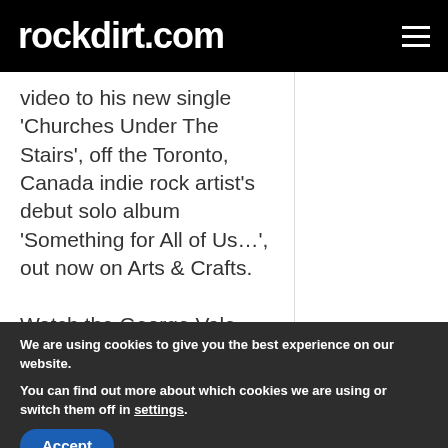rockdirt.com
video to his new single 'Churches Under The Stairs', off the Toronto, Canada indie rock artist's debut solo album 'Something for All of Us…', out now on Arts & Crafts. Watch the George Vale
We are using cookies to give you the best experience on our website.
You can find out more about which cookies we are using or switch them off in settings.
Accept